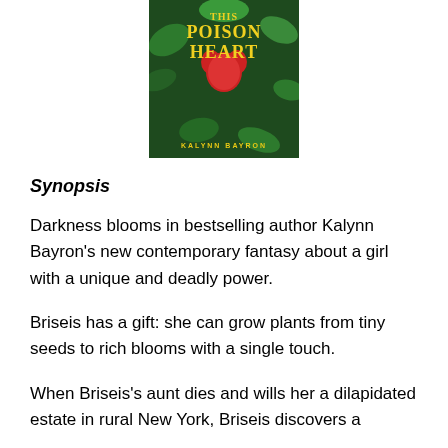[Figure (photo): Book cover of 'This Poison Heart' by Kalynn Bayron, featuring lush green foliage with golden title text and a red heart/apple motif]
Synopsis
Darkness blooms in bestselling author Kalynn Bayron's new contemporary fantasy about a girl with a unique and deadly power.
Briseis has a gift: she can grow plants from tiny seeds to rich blooms with a single touch.
When Briseis's aunt dies and wills her a dilapidated estate in rural New York, Briseis discovers a mysterious greenhouse—and a secret that could change everything.